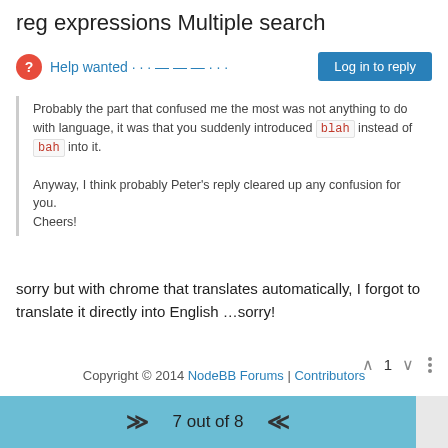reg expressions Multiple search
Help wanted · · · — — — · · ·
Log in to reply
Probably the part that confused me the most was not anything to do with language, it was that you suddenly introduced blah instead of bah into it.
Anyway, I think probably Peter's reply cleared up any confusion for you.
Cheers!
sorry but with chrome that translates automatically, I forgot to translate it directly into English …sorry!
1
Copyright © 2014 NodeBB Forums | Contributors
7 out of 8